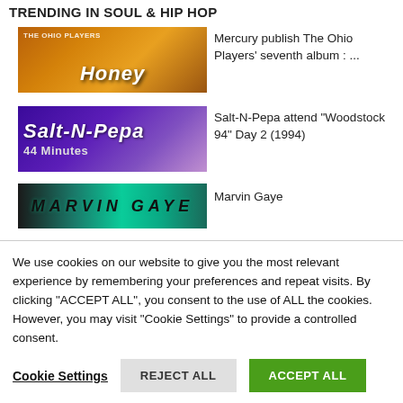TRENDING IN SOUL & HIP HOP
[Figure (photo): Album thumbnail for Ohio Players Honey – warm orange/brown tones with the word 'Honey' in white italic text]
Mercury publish The Ohio Players' seventh album : ...
[Figure (photo): Salt-N-Pepa thumbnail – purple tones with 'Salt-N-Pepa' and '44 Minutes' text]
Salt-N-Pepa attend "Woodstock 94" Day 2 (1994)
[Figure (photo): Marvin Gaye thumbnail – dark teal/green tones with large styled text]
Marvin Gaye
We use cookies on our website to give you the most relevant experience by remembering your preferences and repeat visits. By clicking "ACCEPT ALL", you consent to the use of ALL the cookies. However, you may visit "Cookie Settings" to provide a controlled consent.